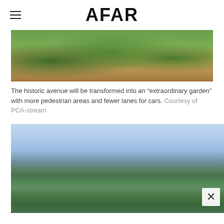AFAR
[Figure (photo): Aerial rendering of a green garden avenue with trees and pedestrian paths, people walking in a park-like setting]
The historic avenue will be transformed into an “extraordinary garden” with more pedestrian areas and fewer lanes for cars. Courtesy of PCA-stream
[Figure (photo): Aerial panoramic view of Paris from a high vantage point showing the Champs-Élysées lined with green trees extending toward La Défense in the distance, with the Seine river visible and city skyline]